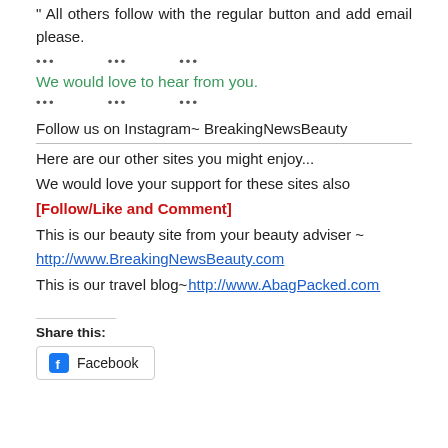All others follow with the regular button and add email please.
... ... ...
We would love to hear from you.
... ... ...
Follow us on Instagram~ BreakingNewsBeauty
Here are our other sites you might enjoy...
We would love your support for these sites also
[Follow/Like and Comment]
This is our beauty site from your beauty adviser ~
http://www.BreakingNewsBeauty.com
This is our travel blog~ http://www.AbagPacked.com
Share this:
Facebook